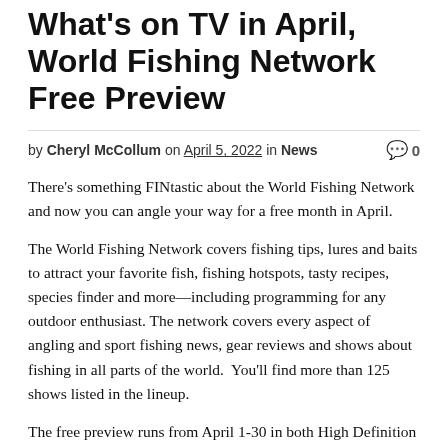What's on TV in April, World Fishing Network Free Preview
by Cheryl McCollum on April 5, 2022 in News  💬 0
There's something FINtastic about the World Fishing Network and now you can angle your way for a free month in April.
The World Fishing Network covers fishing tips, lures and baits to attract your favorite fish, fishing hotspots, tasty recipes, species finder and more—including programming for any outdoor enthusiast. The network covers every aspect of angling and sport fishing news, gear reviews and shows about fishing in all parts of the world.  You'll find more than 125 shows listed in the lineup.
The free preview runs from April 1-30 in both High Definition (HD) and Standard Definition (SD). For TDS TV+ customers, check out The World Fishing Network on